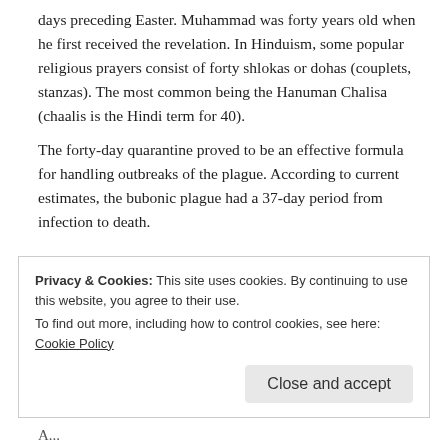days preceding Easter. Muhammad was forty years old when he first received the revelation. In Hinduism, some popular religious prayers consist of forty shlokas or dohas (couplets, stanzas). The most common being the Hanuman Chalisa (chaalis is the Hindi term for 40).
The forty-day quarantine proved to be an effective formula for handling outbreaks of the plague. According to current estimates, the bubonic plague had a 37-day period from infection to death.
★ Liked by 1 person
Reply
Privacy & Cookies: This site uses cookies. By continuing to use this website, you agree to their use.
To find out more, including how to control cookies, see here: Cookie Policy
Close and accept
A...